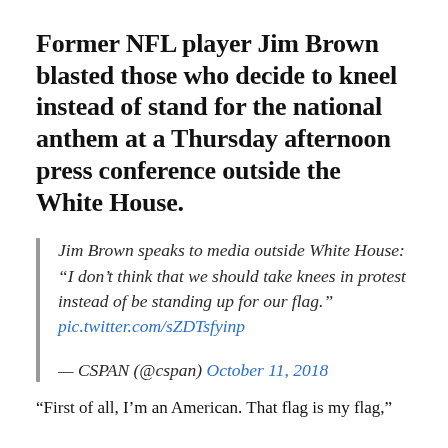Former NFL player Jim Brown blasted those who decide to kneel instead of stand for the national anthem at a Thursday afternoon press conference outside the White House.
Jim Brown speaks to media outside White House: “I don’t think that we should take knees in protest instead of be standing up for our flag.” pic.twitter.com/sZDTsfyinp — CSPAN (@cspan) October 11, 2018
“First of all, I’m an American. That flag is my flag,”